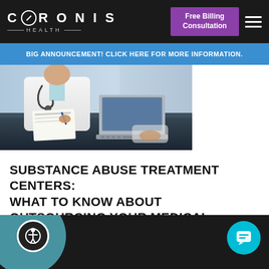CORONIS HEALTH — Free Billing Consultation
BIG ANNOUNCEMENT! CLICK HERE FOR MORE INFORMATION.
[Figure (photo): Doctor in white coat at desk with stethoscope, writing notes, with laptop open in front on dark table]
SUBSTANCE ABUSE TREATMENT CENTERS: WHAT TO KNOW ABOUT OUTSOURCING YOUR MEDICAL BILLING SERVICES